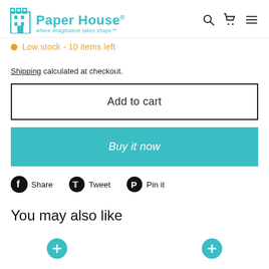[Figure (logo): Paper House logo with building icon and tagline 'where imagination takes shape']
Low stock - 10 items left
Shipping calculated at checkout.
Add to cart
Buy it now
Share   Tweet   Pin it
You may also like